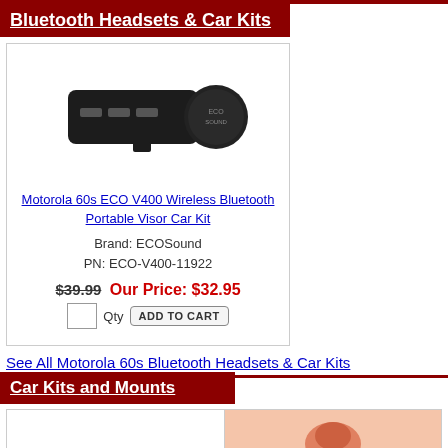Bluetooth Headsets & Car Kits
[Figure (photo): Motorola 60s ECO V400 Wireless Bluetooth Portable Visor Car Kit device photo — black oval-shaped visor clip device with buttons]
Motorola 60s ECO V400 Wireless Bluetooth Portable Visor Car Kit
Brand: ECOSound
PN: ECO-V400-11922
$39.99  Our Price: $32.95
Qty  ADD TO CART
See All Motorola 60s Bluetooth Headsets & Car Kits
Car Kits and Mounts